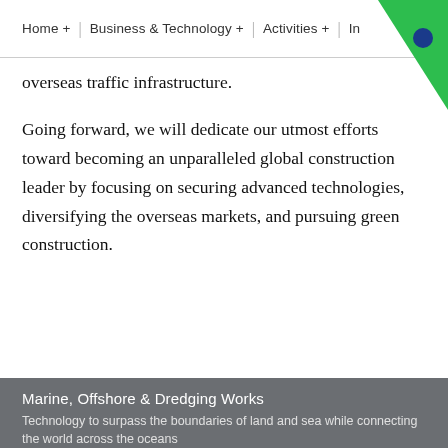Home + | Business & Technology + | Activities + | In...
overseas traffic infrastructure.
Going forward, we will dedicate our utmost efforts toward becoming an unparalleled global construction leader by focusing on securing advanced technologies, diversifying the overseas markets, and pursuing green construction.
Marine, Offshore & Dredging Works
Technology to surpass the boundaries of land and sea while connecting the world across the oceans